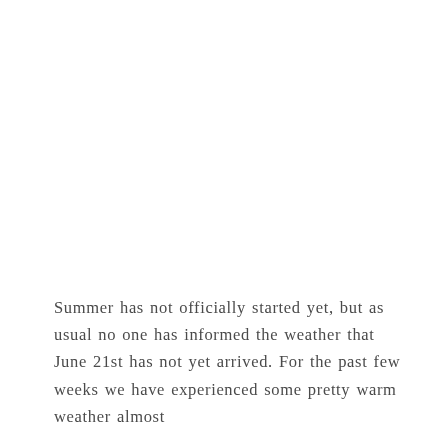Summer has not officially started yet, but as usual no one has informed the weather that June 21st has not yet arrived. For the past few weeks we have experienced some pretty warm weather almost